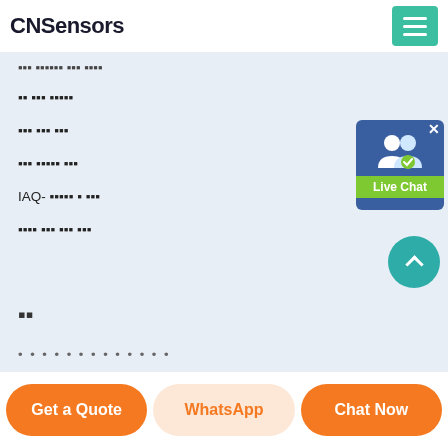CNSensors
▪▪▪ ▪▪▪▪▪▪ ▪▪▪ ▪▪▪▪
▪▪ ▪▪▪ ▪▪▪▪▪
▪▪▪ ▪▪▪ ▪▪▪
▪▪▪ ▪▪▪▪▪ ▪▪▪
IAQ- ▪▪▪▪▪ ▪ ▪▪▪
▪▪▪▪ ▪▪▪ ▪▪▪ ▪▪▪
▪▪
[Figure (screenshot): Live Chat widget with user icon and green label]
Get a Quote | WhatsApp | Chat Now